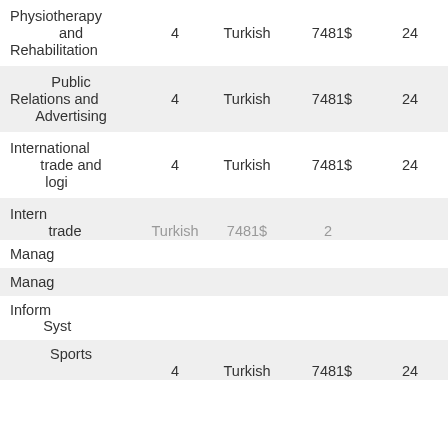| Program | Years | Language | Price | Extra |
| --- | --- | --- | --- | --- |
| Physiotherapy and Rehabilitation | 4 | Turkish | 7481$ | 24 |
| Public Relations and Advertising | 4 | Turkish | 7481$ | 24 |
| International trade and logistics | 4 | Turkish | 7481$ | 24 |
| International trade ... | 4 | Turkish | 7481$ | 24 |
| Management |  |  |  |  |
| Management |  |  |  |  |
| Information Systems |  |  |  |  |
| Sports | 4 | Turkish | 7481$ | 24 |
[Figure (screenshot): Chat popup from Aya at OK TAMAM. First bubble: 'Welcome to OK TAMAM, please ask me anything!' Second bubble: Arabic text 'أهلا وسهلا بك في اوكي تمام.. كيف يمكننا مساعدتك اليوم؟']